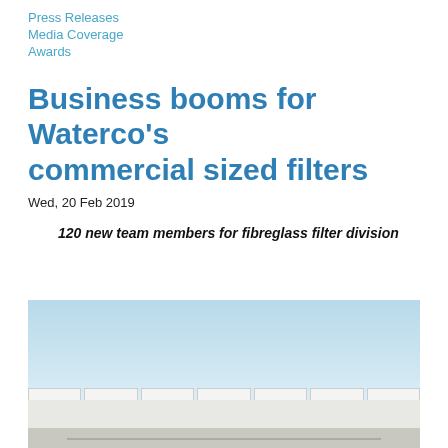Press Releases
Media Coverage
Awards
Business booms for Waterco's commercial sized filters
Wed, 20 Feb 2019
120 new team members for fibreglass filter division
[Figure (photo): Exterior photograph of a large white industrial/commercial building (Waterco facility) against a clear blue sky, with a road or parking area in the foreground.]